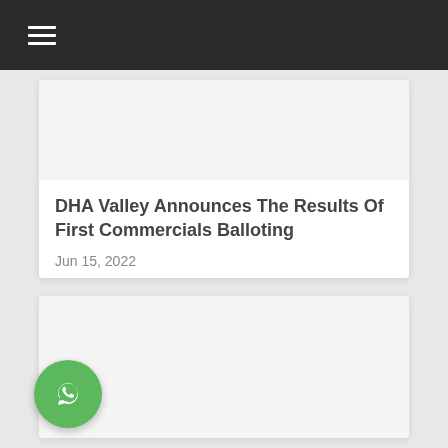DHA Valley Announces The Results Of First Commercials Balloting
Jun 15, 2022
[Figure (photo): Second card image placeholder (white/light grey area)]